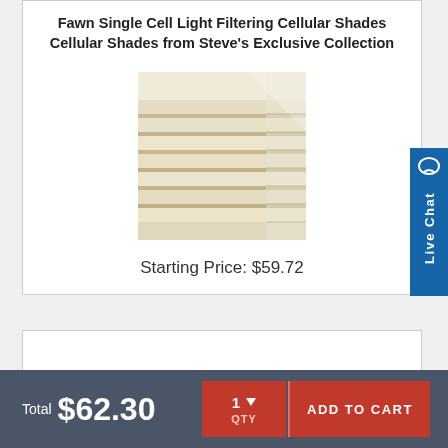Fawn Single Cell Light Filtering Cellular Shades Cellular Shades from Steve's Exclusive Collection
[Figure (photo): Close-up photo of fawn/cream colored single cell light filtering cellular shades showing folded honeycomb structure]
Starting Price: $59.72
Total $62.30
1 QTY
ADD TO CART